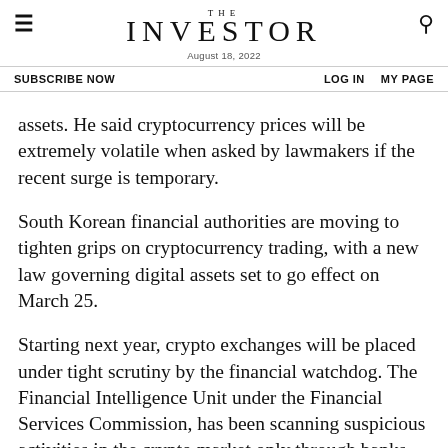THE INVESTOR — August 18, 2022
SUBSCRIBE NOW   LOG IN   MY PAGE
assets. He said cryptocurrency prices will be extremely volatile when asked by lawmakers if the recent surge is temporary.
South Korean financial authorities are moving to tighten grips on cryptocurrency trading, with a new law governing digital assets set to go effect on March 25.
Starting next year, crypto exchanges will be placed under tight scrutiny by the financial watchdog. The Financial Intelligence Unit under the Financial Services Commission, has been scanning suspicious activities in the crypto market only through banks. But the unit will be able to directly monitor cryptocurrency exchanges to